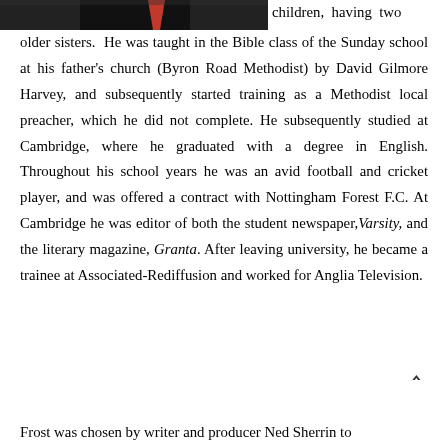[Figure (photo): A dark photograph showing a person, partially visible at top left of page, with a red tie visible]
children, having two older sisters. He was taught in the Bible class of the Sunday school at his father's church (Byron Road Methodist) by David Gilmore Harvey, and subsequently started training as a Methodist local preacher, which he did not complete. He subsequently studied at Cambridge, where he graduated with a degree in English. Throughout his school years he was an avid football and cricket player, and was offered a contract with Nottingham Forest F.C. At Cambridge he was editor of both the student newspaper, Varsity, and the literary magazine, Granta. After leaving university, he became a trainee at Associated-Rediffusion and worked for Anglia Television.
Frost was chosen by writer and producer Ned Sherrin to